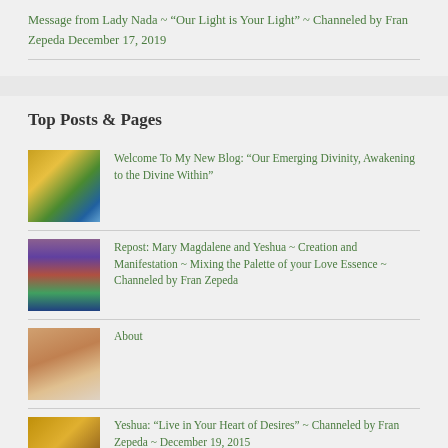Message from Lady Nada ~ “Our Light is Your Light” ~ Channeled by Fran Zepeda December 17, 2019
Top Posts & Pages
Welcome To My New Blog: “Our Emerging Divinity, Awakening to the Divine Within”
Repost: Mary Magdalene and Yeshua ~ Creation and Manifestation ~ Mixing the Palette of your Love Essence ~ Channeled by Fran Zepeda
About
Yeshua: “Live in Your Heart of Desires” ~ Channeled by Fran Zepeda ~ December 19, 2015
Lady Nada and Lord Sananda: Towards a Blissful World ~ Channeled by Fran Zepeda